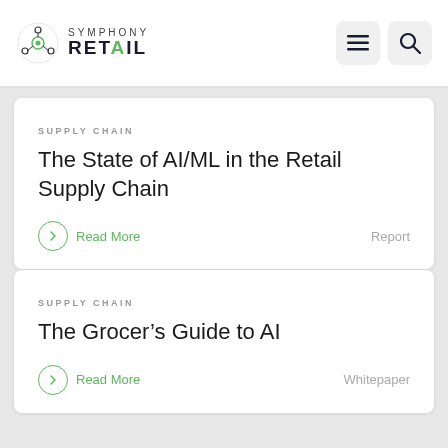Symphony Retail
SUPPLY CHAIN
The State of AI/ML in the Retail Supply Chain
Read More
Report
SUPPLY CHAIN
The Grocer's Guide to AI
Read More
Whitepaper